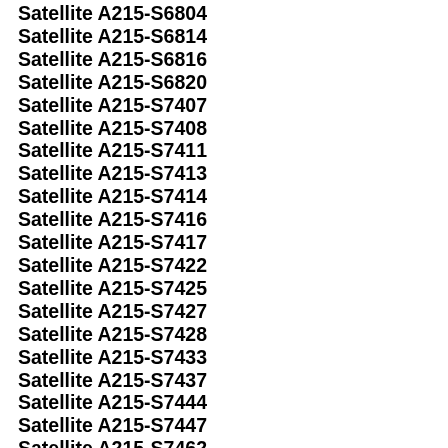Satellite A215-S6804
Satellite A215-S6814
Satellite A215-S6816
Satellite A215-S6820
Satellite A215-S7407
Satellite A215-S7408
Satellite A215-S7411
Satellite A215-S7413
Satellite A215-S7414
Satellite A215-S7416
Satellite A215-S7417
Satellite A215-S7422
Satellite A215-S7425
Satellite A215-S7427
Satellite A215-S7428
Satellite A215-S7433
Satellite A215-S7437
Satellite A215-S7444
Satellite A215-S7447
Satellite A215-S7462